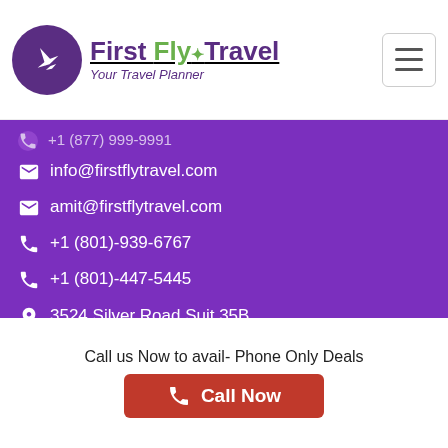[Figure (logo): First Fly Travel logo with airplane icon in purple circle, text 'First Fly Travel' with green 'Fly' and purple 'First' and 'Travel', underlined, subtitle 'Your Travel Planner' in purple italic]
+1 (877) 999-9991 (partially visible)
info@firstflytravel.com
amit@firstflytravel.com
+1 (801)-939-6767
+1 (801)-447-5445
3524 Silver Road Suit 35B, Wilmington, DE 19810, United States
112 Capitol Trail Suite A 727, Newark DE 19711, USA
Call us Now to avail- Phone Only Deals
[Figure (other): Red 'Call Now' button with phone icon]